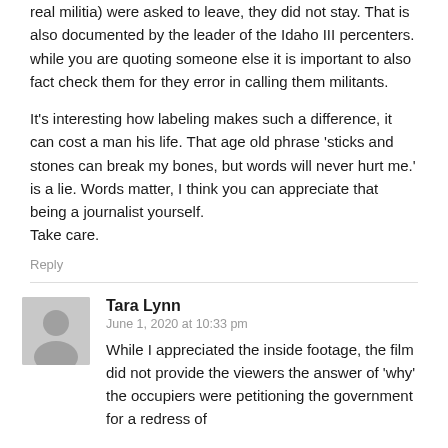real militia) were asked to leave, they did not stay. That is also documented by the leader of the Idaho III percenters.
while you are quoting someone else it is important to also fact check them for they error in calling them militants.
It's interesting how labeling makes such a difference, it can cost a man his life. That age old phrase ‘sticks and stones can break my bones, but words will never hurt me.’ is a lie. Words matter, I think you can appreciate that being a journalist yourself.
Take care.
Reply
Tara Lynn
June 1, 2020 at 10:33 pm
While I appreciated the inside footage, the film did not provide the viewers the answer of ‘why’ the occupiers were petitioning the government for a redress of